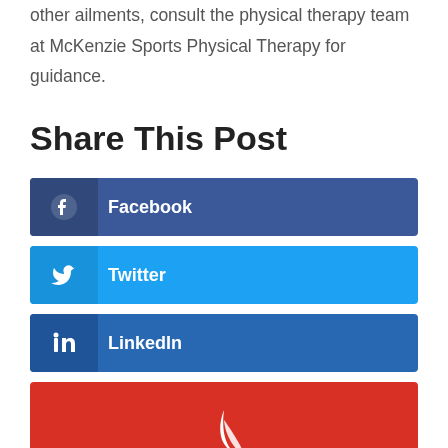other ailments, consult the physical therapy team at McKenzie Sports Physical Therapy for guidance.
Share This Post
[Figure (infographic): Social sharing buttons for Facebook, Twitter, and LinkedIn, followed by a red banner with a white shark/sail logo at the bottom.]